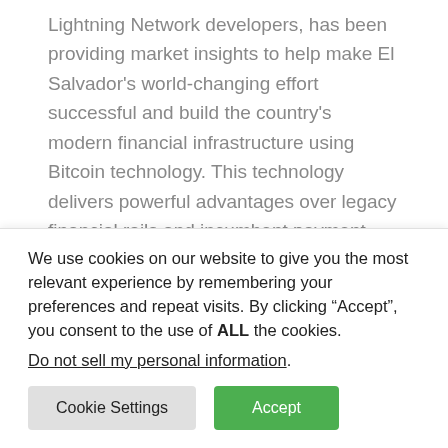Lightning Network developers, has been providing market insights to help make El Salvador's world-changing effort successful and build the country's modern financial infrastructure using Bitcoin technology. This technology delivers powerful advantages over legacy financial rails and incumbent payment systems.
Speaking from Bitcoin 2021 in Miami, Mallers said, "This is the shot heard 'round the world for Bitcoin. What's transformative here is that bitcoin is both the greatest
We use cookies on our website to give you the most relevant experience by remembering your preferences and repeat visits. By clicking “Accept”, you consent to the use of ALL the cookies.
Do not sell my personal information.